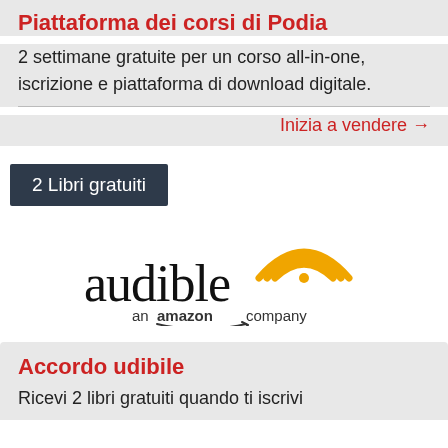Piattaforma dei corsi di Podia
2 settimane gratuite per un corso all-in-one, iscrizione e piattaforma di download digitale.
Inizia a vendere →
2 Libri gratuiti
[Figure (logo): Audible logo — text 'audible' in large serif font with orange wifi/signal icon above, below reads 'an amazon company' with Amazon smile arrow]
Accordo udibile
Ricevi 2 libri gratuiti quando ti iscrivi